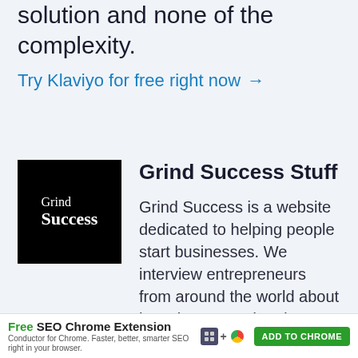solution and none of the complexity.
Try Klaviyo for free right now →
[Figure (logo): Grind Success logo — white text on black square background with 'Grind Success' written in serif font]
Grind Success Stuff
Grind Success is a website dedicated to helping people start businesses. We interview entrepreneurs from around the world about how they started and
Free SEO Chrome Extension — Conductor for Chrome. Faster, better, smarter SEO right in your browser. ADD TO CHROME